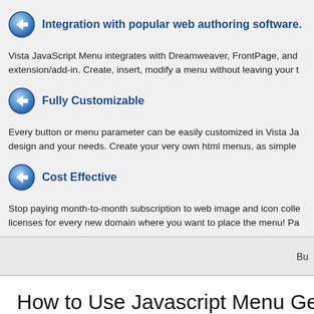Integration with popular web authoring software.
Vista JavaScript Menu integrates with Dreamweaver, FrontPage, and extension/add-in. Create, insert, modify a menu without leaving your t
Fully Customizable
Every button or menu parameter can be easily customized in Vista Ja design and your needs. Create your very own html menus, as simple
Cost Effective
Stop paying month-to-month subscription to web image and icon colle licenses for every new domain where you want to place the menu! Pa
Bu
How to Use Javascript Menu Gene